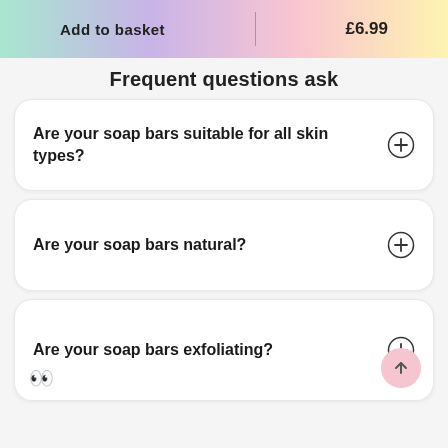Add to basket | £6.99
Frequent questions ask
Are your soap bars suitable for all skin types?
Are your soap bars natural?
Are your soap bars exfoliating?